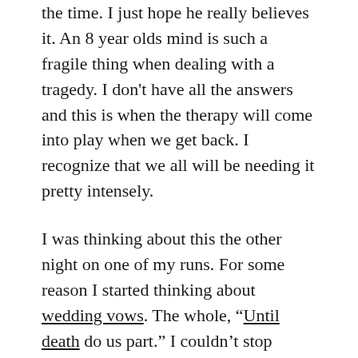the time. I just hope he really believes it. An 8 year olds mind is such a fragile thing when dealing with a tragedy. I don't have all the answers and this is when the therapy will come into play when we get back. I recognize that we all will be needing it pretty intensely.
I was thinking about this the other night on one of my runs. For some reason I started thinking about wedding vows. The whole, “Until death do us part.” I couldn’t stop thinking about it and I thought to myself, I’ll bet when people say those vows, they don’t take into consideration if the child would be the one to die..... would death do them part?? I think people say that vow just thinking of one another, as man and wife; never a child because that is just too horrific and does not happen. WRONG. BIG FAT LIE. It happens. And I am so freaking glad Woody and I did not say those vows to each other. Not that they are